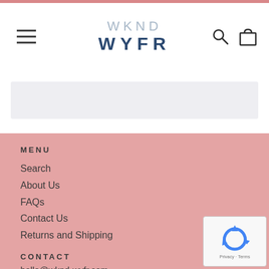WKND WYFR
[Figure (screenshot): Gray search/filter bar below header navigation]
MENU
Search
About Us
FAQs
Contact Us
Returns and Shipping
CONTACT
hello@wknd-wyfr.com